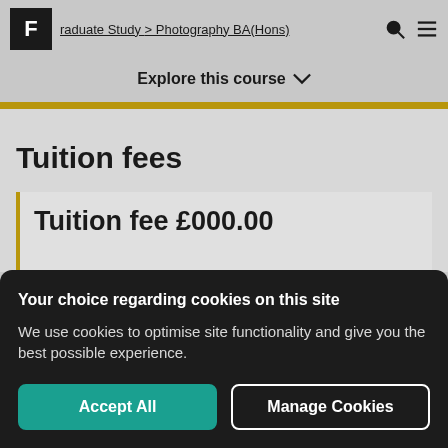F | raduate Study > Photography BA(Hons)
Explore this course
Tuition fees
Tuition fee £000.00
Your choice regarding cookies on this site
We use cookies to optimise site functionality and give you the best possible experience.
Accept All
Manage Cookies